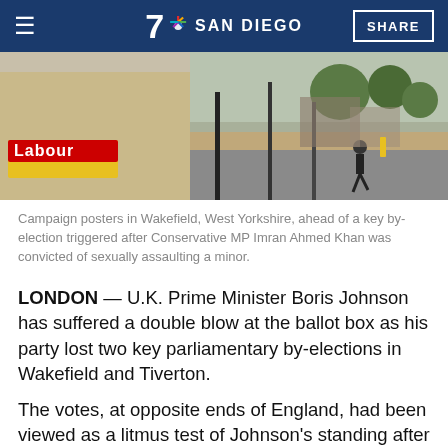7 NBC SAN DIEGO — SHARE
[Figure (photo): Street scene in Wakefield, West Yorkshire showing campaign posters including a Labour sign, with a pedestrian crossing the road and buildings/trees in the background.]
Campaign posters in Wakefield, West Yorkshire, ahead of a key by-election triggered after Conservative MP Imran Ahmed Khan was convicted of sexually assaulting a minor.
LONDON — U.K. Prime Minister Boris Johnson has suffered a double blow at the ballot box as his party lost two key parliamentary by-elections in Wakefield and Tiverton.
The votes, at opposite ends of England, had been viewed as a litmus test of Johnson's standing after a string of scandals — including parties held at Downing Street during Covid-19